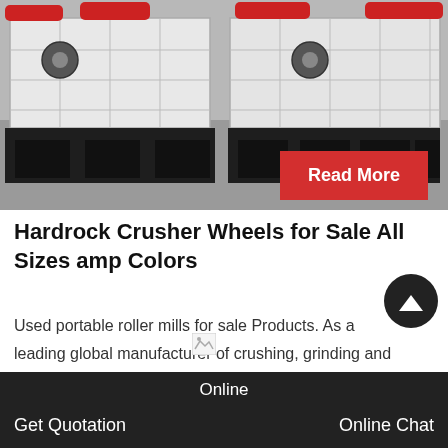[Figure (photo): Industrial crusher machine with white body structure, black base/legs, and red wheels on top, shown in a warehouse/factory setting]
Hardrock Crusher Wheels for Sale All Sizes amp Colors
Used portable roller mills for sale Products. As a leading global manufacturer of crushing, grinding and mining equipments, we offer advanced, reasonable solutions for…
[Figure (photo): Broken/missing image placeholder]
Online   Get Quotation   Online Chat